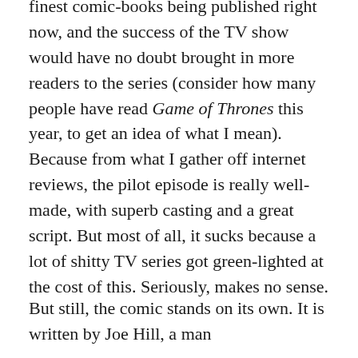finest comic-books being published right now, and the success of the TV show would have no doubt brought in more readers to the series (consider how many people have read Game of Thrones this year, to get an idea of what I mean). Because from what I gather off internet reviews, the pilot episode is really well-made, with superb casting and a great script. But most of all, it sucks because a lot of shitty TV series got green-lighted at the cost of this. Seriously, makes no sense.
But still, the comic stands on its own. It is written by Joe Hill, a man